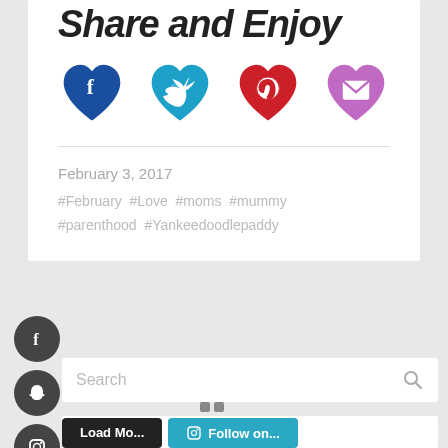Share and Enjoy
[Figure (illustration): Four heart-shaped social sharing icons: Facebook (dark blue), Twitter (cyan/teal), Pinterest (red), and Email (purple/violet)]
February 3, 2017
#February  #Love  #moms  #mummy  #parenthood  #Yankeedoodlepaddy
[Figure (illustration): Five dark circular social media sidebar buttons (Facebook, Snapchat, Instagram, Twitter, Pinterest) on left side]
[Figure (screenshot): Search bar with placeholder text 'Search' and magnifying glass icon on the right]
[Figure (screenshot): Loading dots indicator and partial view of two buttons: a dark 'Load More' button and a blue 'Follow on Instagram' button]